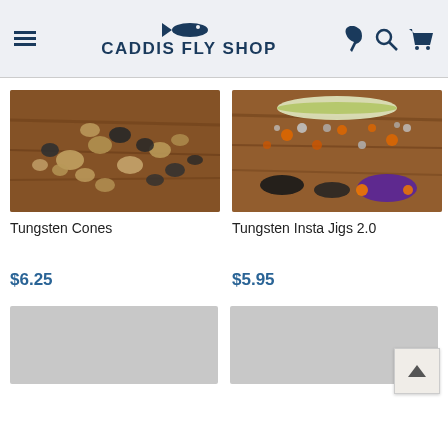CADDIS FLY SHOP
[Figure (photo): Tungsten cone fly-tying beads scattered on a wooden surface, metallic silver and black tones]
Tungsten Cones
$6.25
[Figure (photo): Tungsten Insta Jigs 2.0 kit showing jig heads, beads, and tied flies on a wooden surface, with orange accents and purple feathered fly]
Tungsten Insta Jigs 2.0
$5.95
[Figure (photo): Partially visible product image (gray placeholder) bottom left]
[Figure (photo): Partially visible product image (gray placeholder) bottom right]